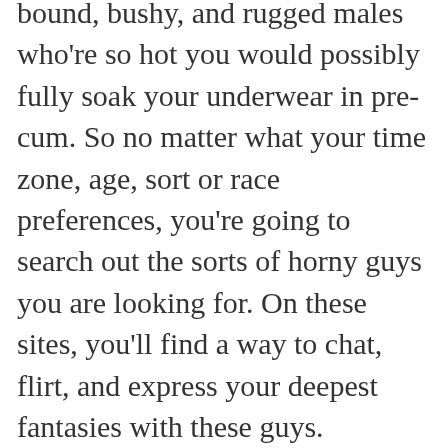bound, bushy, and rugged males who're so hot you would possibly fully soak your underwear in pre-cum. So no matter what your time zone, age, sort or race preferences, you're going to search out the sorts of horny guys you are looking for. On these sites, you'll find a way to chat, flirt, and express your deepest fantasies with these guys.
Signed up with the most well-liked and reviewed cam providers. Another considered one of course is Jasmin, which has the best streaming high quality. Chaturbate is considered one of the sites that still has a good variety of Filipina fashions. They seem to